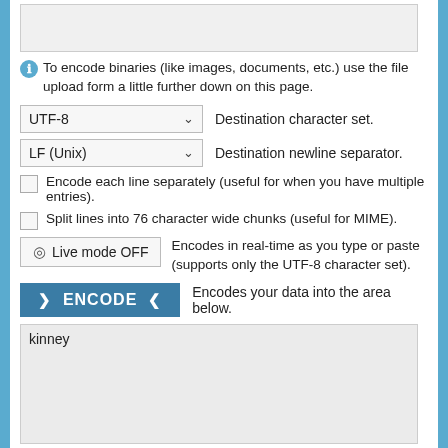[Figure (screenshot): Top textarea input field (partially visible), light gray background with resize handle]
To encode binaries (like images, documents, etc.) use the file upload form a little further down on this page.
UTF-8   Destination character set.
LF (Unix)   Destination newline separator.
Encode each line separately (useful for when you have multiple entries).
Split lines into 76 character wide chunks (useful for MIME).
Live mode OFF   Encodes in real-time as you type or paste (supports only the UTF-8 character set).
ENCODE   Encodes your data into the area below.
kinney